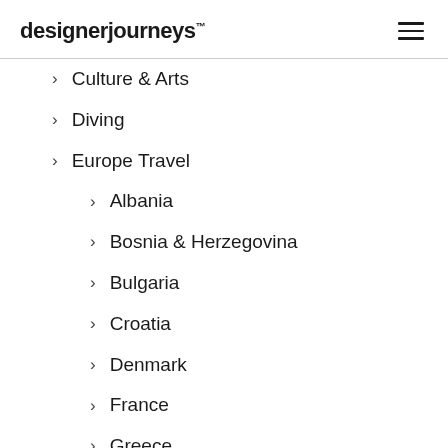designerjourneys™
> Culture & Arts
> Diving
> Europe Travel
> Albania
> Bosnia & Herzegovina
> Bulgaria
> Croatia
> Denmark
> France
> Greece
> Ireland
> Italy